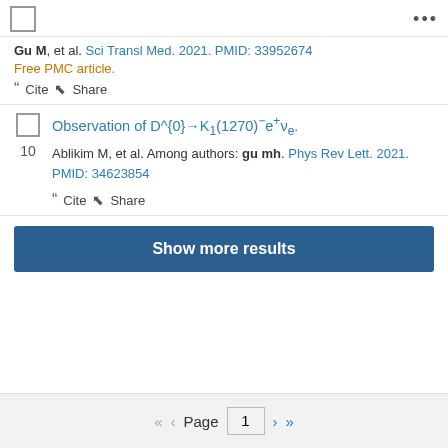Gu M, et al. Sci Transl Med. 2021. PMID: 33952674
Free PMC article.
Cite  Share
10  Observation of D^{0}→K_{1}(1270)^{-}e^{+}ν_{e}.
Ablikim M, et al. Among authors: gu mh. Phys Rev Lett. 2021. PMID: 34623854
Cite  Share
Show more results
Page  1